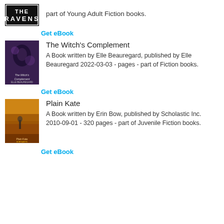part of Young Adult Fiction books.
Get eBook
The Witch's Complement
A Book written by Elle Beauregard, published by Elle Beauregard 2022-03-03 - pages - part of Fiction books.
Get eBook
Plain Kate
A Book written by Erin Bow, published by Scholastic Inc. 2010-09-01 - 320 pages - part of Juvenile Fiction books.
Get eBook